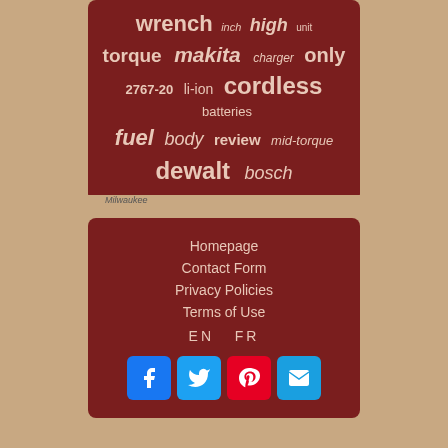[Figure (infographic): Tag cloud on dark red background with tool-related keywords: wrench, inch, high, unit, torque, makita, charger, only, 2767-20, li-ion, cordless, batteries, fuel, body, review, mid-torque, dewalt, bosch]
[Figure (photo): Background photo showing power tools on a surface, partially visible]
Homepage
Contact Form
Privacy Policies
Terms of Use
EN  FR
[Figure (infographic): Social media icons row: Facebook (blue), Twitter (blue), Pinterest (red), Email (blue)]